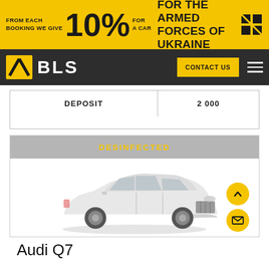[Figure (infographic): Yellow banner: FROM EACH BOOKING WE GIVE 10% FOR A CAR — FOR THE ARMED FORCES OF UKRAINE, with shield icon]
[Figure (logo): BLS car rental logo on dark nav bar with CONTACT US button and hamburger menu]
| DEPOSIT | 2 000 |
| --- | --- |
[Figure (photo): DESINFECTED badge above a white Audi Q7 SUV car photo]
Audi Q7